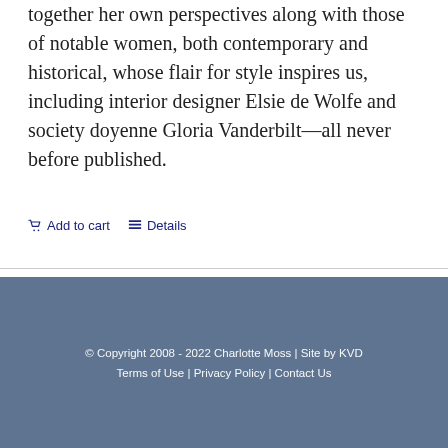together her own perspectives along with those of notable women, both contemporary and historical, whose flair for style inspires us, including interior designer Elsie de Wolfe and society doyenne Gloria Vanderbilt—all never before published.
Add to cart   Details
© Copyright 2008 - 2022 Charlotte Moss | Site by KVD
Terms of Use | Privacy Policy | Contact Us